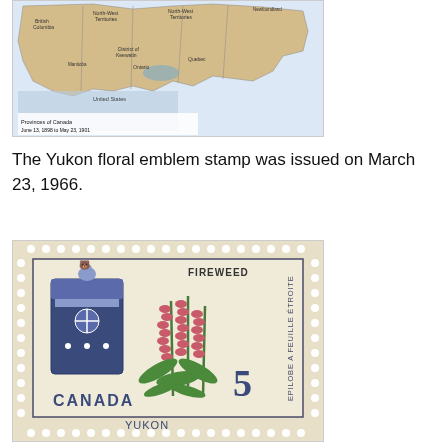[Figure (map): Map of the Provinces of Canada, June 13, 1898 to May 23, 1901, showing regions including British Columbia, North-West Territories, District of Keewatin, Ontario, Quebec, Newfoundland, and United States border.]
The Yukon floral emblem stamp was issued on March 23, 1966.
[Figure (photo): Canadian postage stamp for Yukon territory showing Fireweed (Epilobe à feuille étroite), with the Yukon coat of arms and denomination of 5 cents. Labeled CANADA and YUKON.]